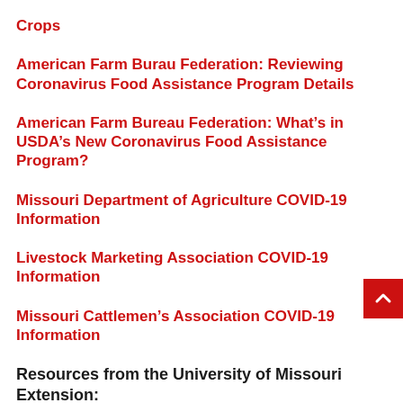Crops
American Farm Burau Federation: Reviewing Coronavirus Food Assistance Program Details
American Farm Bureau Federation: What's in USDA's New Coronavirus Food Assistance Program?
Missouri Department of Agriculture COVID-19 Information
Livestock Marketing Association COVID-19 Information
Missouri Cattlemen's Association COVID-19 Information
Resources from the University of Missouri Extension: